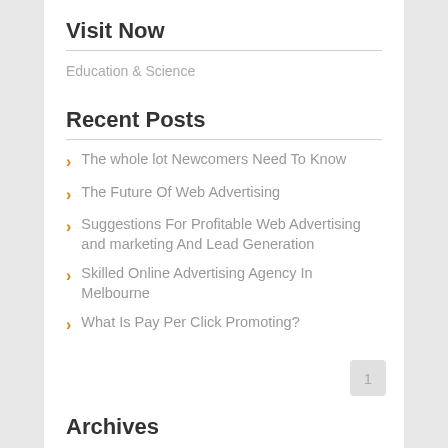Visit Now
Education & Science
Recent Posts
The whole lot Newcomers Need To Know
The Future Of Web Advertising
Suggestions For Profitable Web Advertising and marketing And Lead Generation
Skilled Online Advertising Agency In Melbourne
What Is Pay Per Click Promoting?
1
Archives